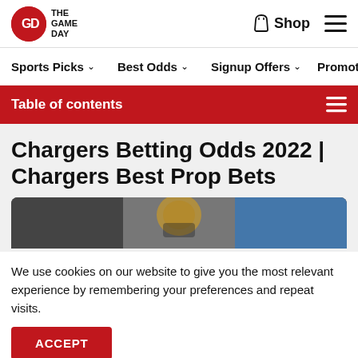The Game Day — Shop, hamburger menu
Sports Picks ∨   Best Odds ∨   Signup Offers ∨   Promoti…
Table of contents
Chargers Betting Odds 2022 | Chargers Best Prop Bets
[Figure (photo): Photo of a football player (catcher) in a helmet during a game]
We use cookies on our website to give you the most relevant experience by remembering your preferences and repeat visits.
ACCEPT